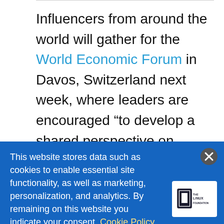Influencers from around the world will gather for the World Economic Forum in Davos, Switzerland next week, where leaders are encouraged “to develop a shared perspective on political, economic, and social topics to embrace positive change globally.” Talks will explore free and open source tools and practices as well as the underlying technologies, and one of the hotly debated
This website stores data such as cookies to enable essential site functionality, as well as marketing, personalization, and analytics. By remaining on this website you indicate your consent. Cookie Policy
[Figure (logo): The Linux Foundation logo: black square bracket icon with 'THE LINUX FOUNDATION' text in dark navy]